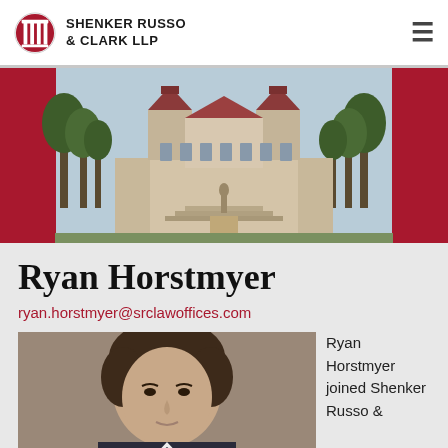Shenker Russo & Clark LLP
[Figure (photo): Banner photo of a government building (New York State Capitol) with red flanking panels]
Ryan Horstmyer
ryan.horstmyer@srclawoffices.com
[Figure (photo): Professional headshot of Ryan Horstmyer]
Ryan Horstmyer joined Shenker Russo &